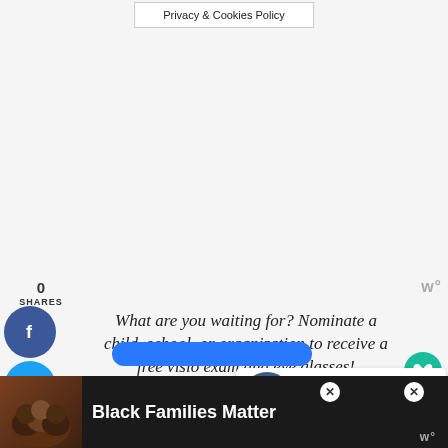Privacy & Cookies Policy
0
SHARES
[Figure (infographic): Social sharing sidebar with Facebook (blue circle with f), Twitter (cyan circle with bird icon), and Pinterest (red circle with P) buttons]
What are you waiting for? Nominate a child, school, or organization to receive a free vision exam and eye glasses!
[Figure (infographic): Wattpad logo (w°) in gray, heart icon in teal circle, share icon in gray circle, number 1]
[Figure (infographic): What's Next panel: thumbnail of school/nomination related image, text 'WHAT'S NEXT → Visionworks Let's Go See...']
[Figure (infographic): Advertisement banner: Black Families Matter with photo of family, close buttons, Wattpad logo]